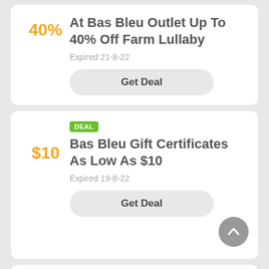40%
At Bas Bleu Outlet Up To 40% Off Farm Lullaby
Expired 21-8-22
Get Deal
DEAL
$10
Bas Bleu Gift Certificates As Low As $10
Expired 19-8-22
Get Deal
PROMO CODE